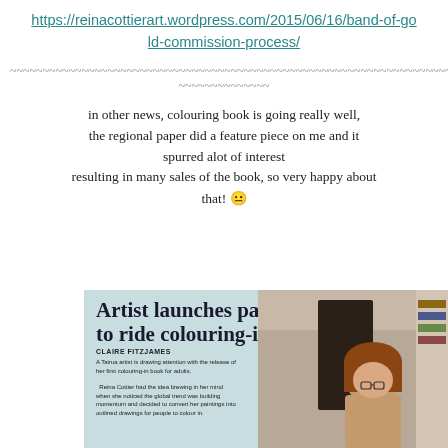https://reinacottierart.wordpress.com/2015/06/16/band-of-gold-commission-process/
~~~~~~~~~~~~~~~~~~~~~~~~~~~~~~~~~~~~~~~~~~~~~~~~~~~~~~~~~~~~~~~~~~~
in other news, colouring book is going really well, the regional paper did a feature piece on me and it spurred alot of interest resulting in many sales of the book, so very happy about that! 😐
[Figure (photo): Newspaper clipping with headline 'Artist launches paintings to ride colouring-in wave' by Claire Fitzjames, with article text and photo of artist]